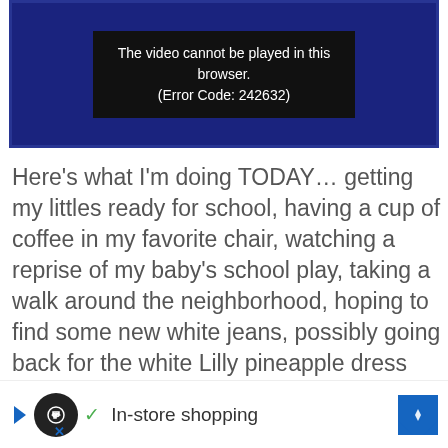[Figure (screenshot): Video player showing error message: 'The video cannot be played in this browser. (Error Code: 242632)' on dark background with blue border]
Here's what I'm doing TODAY… getting my littles ready for school, having a cup of coffee in my favorite chair, watching a reprise of my baby's school play, taking a walk around the neighborhood, hoping to find some new white jeans, possibly going back for the white Lilly pineapple dress y'all loved so much, getting stuff for John's teacher's birthday on Friday, maybe re-planting the pots on my front porch, attending a meeting at school for a first grade event at the end of the month, taking the littles for hair cuts, deciding if I should... or blow i... too
[Figure (screenshot): Advertisement bar at the bottom with circular logo icon, checkmark, 'In-store shopping' text, and a blue diamond navigation icon]